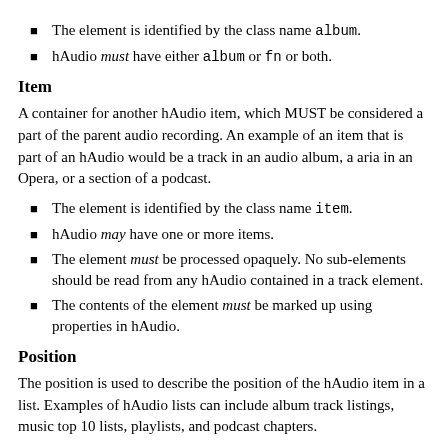The element is identified by the class name album.
hAudio must have either album or fn or both.
Item
A container for another hAudio item, which MUST be considered a part of the parent audio recording. An example of an item that is part of an hAudio would be a track in an audio album, a aria in an Opera, or a section of a podcast.
The element is identified by the class name item.
hAudio may have one or more items.
The element must be processed opaquely. No sub-elements should be read from any hAudio contained in a track element.
The contents of the element must be marked up using properties in hAudio.
Position
The position is used to describe the position of the hAudio item in a list. Examples of hAudio lists can include album track listings, music top 10 lists, playlists, and podcast chapters.